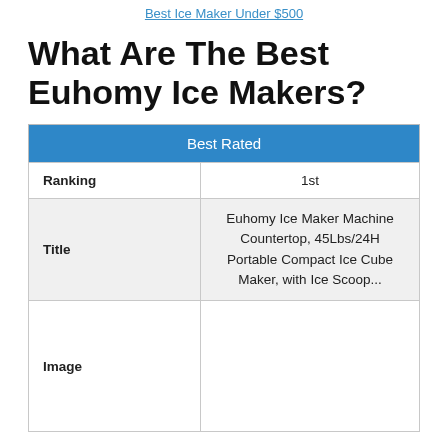Best Ice Maker Under $500
What Are The Best Euhomy Ice Makers?
| Best Rated |
| --- |
| Ranking | 1st |
| Title | Euhomy Ice Maker Machine Countertop, 45Lbs/24H Portable Compact Ice Cube Maker, with Ice Scoop... |
| Image |  |